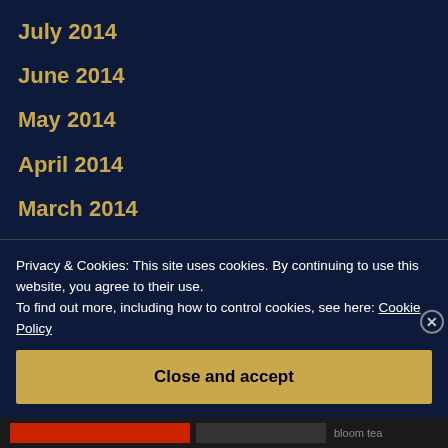July 2014
June 2014
May 2014
April 2014
March 2014
February 2014
January 2014
December 2013
November 2013
October 2013
September 2013
Privacy & Cookies: This site uses cookies. By continuing to use this website, you agree to their use. To find out more, including how to control cookies, see here: Cookie Policy
Close and accept